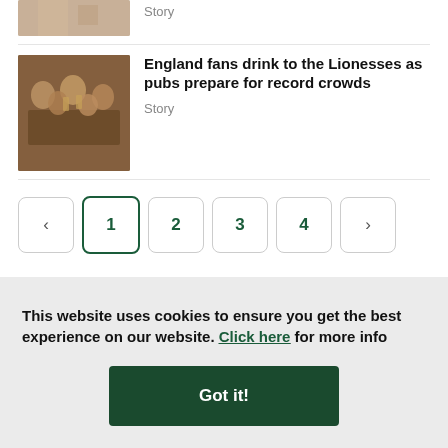[Figure (photo): Partial thumbnail image at top, cropped hands visible]
Story
[Figure (photo): Group of England football fans clinking beer glasses in a pub, celebrating]
England fans drink to the Lionesses as pubs prepare for record crowds
Story
< 1 2 3 4 >
This website uses cookies to ensure you get the best experience on our website. Click here for more info
Got it!